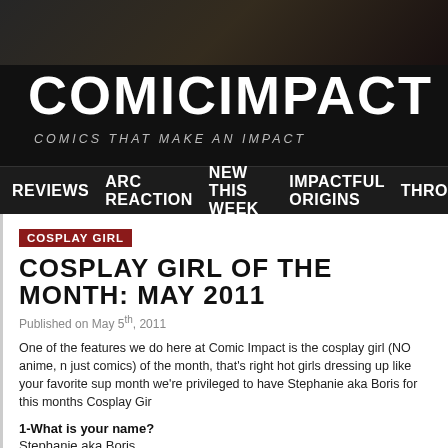COMICIMPACT
COMICS THAT MAKE AN IMPACT
REVIEWS   ARC REACTION   NEW THIS WEEK   IMPACTFUL ORIGINS   THRO
COSPLAY GIRL
COSPLAY GIRL OF THE MONTH: MAY 2011
Published on May 5th, 2011
One of the features we do here at Comic Impact is the cosplay girl (NO anime, n just comics) of the month, that's right hot girls dressing up like your favorite sup month we're privileged to have Stephanie aka Boris for this months Cosplay Gir
1-What is your name?
Stephanie aka Boris.
2-How old are you?
In my 20's.
3-Do you read comics and if so, what are your favorite titles?